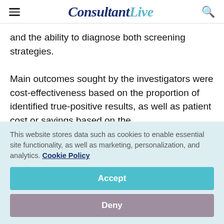ConsultantLive
and the ability to diagnose both screening strategies.
Main outcomes sought by the investigators were cost-effectiveness based on the proportion of identified true-positive results, as well as patient cost or savings based on the
This website stores data such as cookies to enable essential site functionality, as well as marketing, personalization, and analytics. Cookie Policy
Accept
Deny